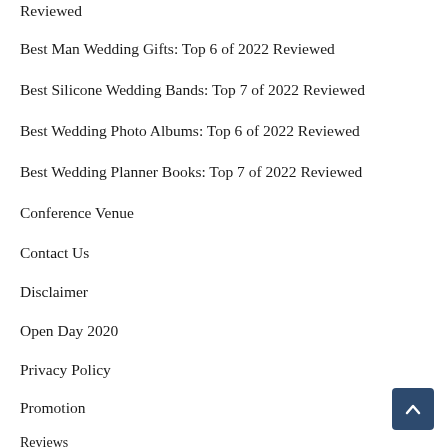Reviewed
Best Man Wedding Gifts: Top 6 of 2022 Reviewed
Best Silicone Wedding Bands: Top 7 of 2022 Reviewed
Best Wedding Photo Albums: Top 6 of 2022 Reviewed
Best Wedding Planner Books: Top 7 of 2022 Reviewed
Conference Venue
Contact Us
Disclaimer
Open Day 2020
Privacy Policy
Promotion
Reviews
Sitemap